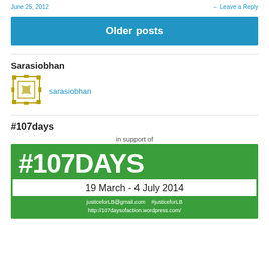June 25, 2012  ← Leave a Reply
Older posts
Sarasiobhan
sarasiobhan
#107days
[Figure (infographic): In support of #107DAYS campaign banner. Green bordered box with large green text '#107DAYS', subtitle '19 March - 4 July 2014', and footer 'justiceforLB@gmail.com  #justiceforLB  http://107daysofaction.wordpress.com/']